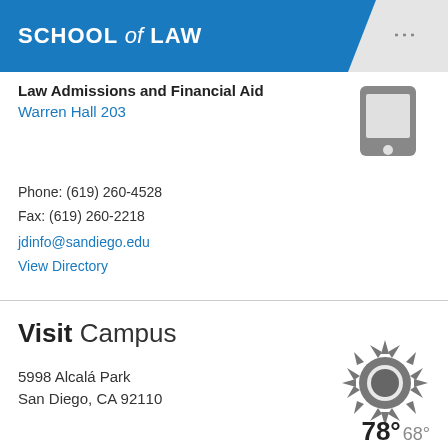SCHOOL of LAW
Law Admissions and Financial Aid
Warren Hall 203
Phone: (619) 260-4528
Fax: (619) 260-2218
jdinfo@sandiego.edu
View Directory
[Figure (illustration): Gray mobile phone / tablet icon]
Visit Campus
5998 Alcalá Park
San Diego, CA 92110
[Figure (illustration): Gray sun/weather icon]
78° 68°